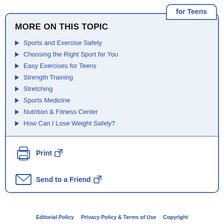for Teens
MORE ON THIS TOPIC
Sports and Exercise Safety
Choosing the Right Sport for You
Easy Exercises for Teens
Strength Training
Stretching
Sports Medicine
Nutrition & Fitness Center
How Can I Lose Weight Safely?
Print
Send to a Friend
Editorial Policy   Privacy Policy & Terms of Use   Copyright